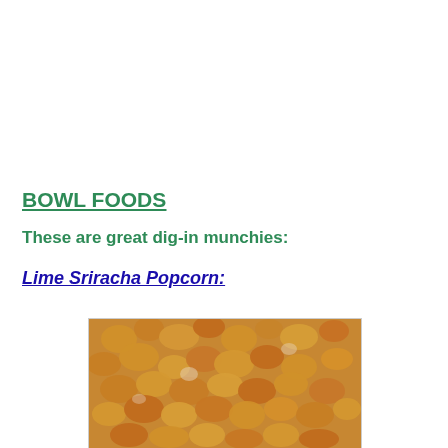BOWL FOODS
These are great dig-in munchies:
Lime Sriracha Popcorn:
[Figure (photo): Close-up photo of lime sriracha popcorn, showing orange-yellow coated popcorn kernels in detail]